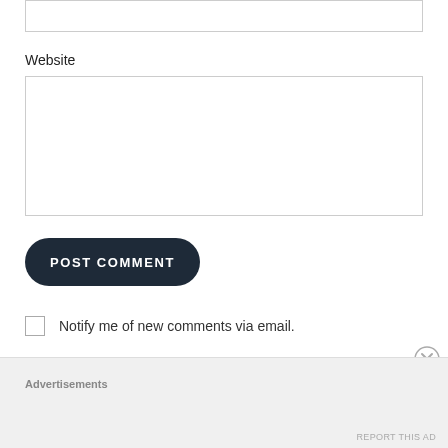Website
[Figure (other): Empty input text field for Website]
[Figure (other): POST COMMENT button — dark rounded pill button with white uppercase text]
Notify me of new comments via email.
Notify me of new posts via email.
This site uses Akismet to reduce spam. Learn how your comment data is processed.
Advertisements
REPORT THIS AD